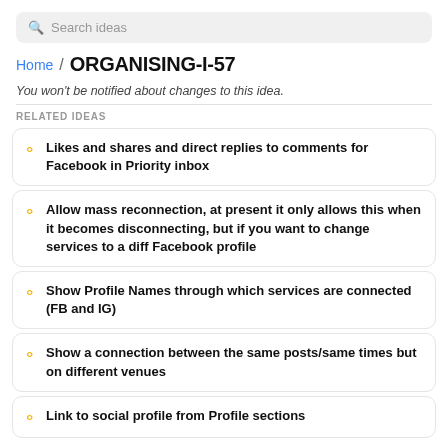Search ideas
Home / ORGANISING-I-57
You won't be notified about changes to this idea.
RELATED IDEAS
Likes and shares and direct replies to comments for Facebook in Priority inbox
Allow mass reconnection, at present it only allows this when it becomes disconnecting, but if you want to change services to a diff Facebook profile
Show Profile Names through which services are connected (FB and IG)
Show a connection between the same posts/same times but on different venues
Link to social profile from Profile sections